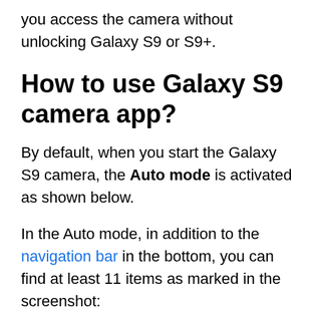you access the camera without unlocking Galaxy S9 or S9+.
How to use Galaxy S9 camera app?
By default, when you start the Galaxy S9 camera, the Auto mode is activated as shown below.
In the Auto mode, in addition to the navigation bar in the bottom, you can find at least 11 items as marked in the screenshot: